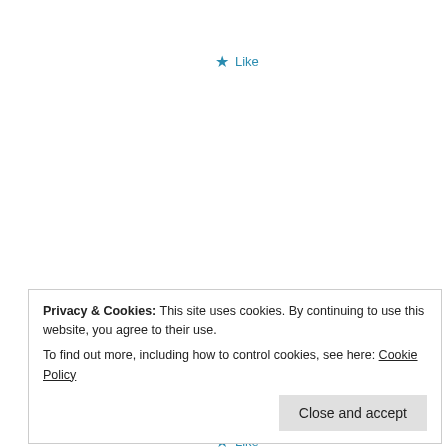★ Like
[Figure (illustration): Red decorative flower/snowflake avatar icon for user MADHAWA]
MADHAWA
March 14, 2008 at 12:47 pm · Reply
please give me free magazine of all type
★ Like
Privacy & Cookies: This site uses cookies. By continuing to use this website, you agree to their use.
To find out more, including how to control cookies, see here: Cookie Policy
Close and accept